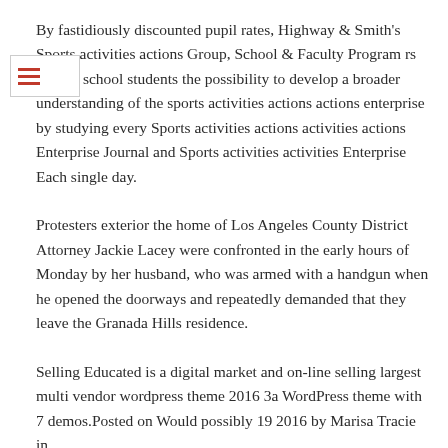By fastidiously discounted pupil rates, Highway & Smith's Sports activities actions Group, School & Faculty Program rs faculty school students the possibility to develop a broader understanding of the sports activities actions actions enterprise by studying every Sports activities actions activities actions Enterprise Journal and Sports activities activities Enterprise Each single day.
Protesters exterior the home of Los Angeles County District Attorney Jackie Lacey were confronted in the early hours of Monday by her husband, who was armed with a handgun when he opened the doorways and repeatedly demanded that they leave the Granada Hills residence.
Selling Educated is a digital market and on-line selling largest multi vendor wordpress theme 2016 3a WordPress theme with 7 demos.Posted on Would possibly 19 2016 by Marisa Tracie in